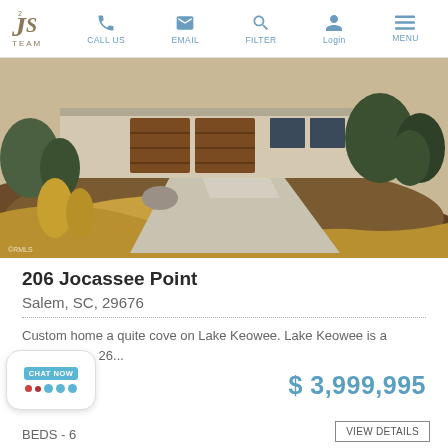JS Team | CALL US | EMAIL | FILTER | Login | MENU
[Figure (photo): Aerial/elevated view of a luxury home driveway with ornamental grasses and landscaping, concrete driveway, two-car garage visible at top]
206 Jocassee Point
Salem, SC, 29676
Custom home a quite cove on Lake Keowee. Lake Keowee is a 17,500 Acre, 26...
$ 3,999,995
BEDS - 6
VIEW DETAILS